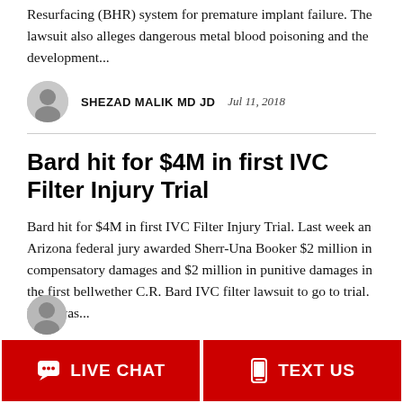Resurfacing (BHR) system for premature implant failure. The lawsuit also alleges dangerous metal blood poisoning and the development...
SHEZAD MALIK MD JD   Jul 11, 2018
Bard hit for $4M in first IVC Filter Injury Trial
Bard hit for $4M in first IVC Filter Injury Trial. Last week an Arizona federal jury awarded Sherr-Una Booker $2 million in compensatory damages and $2 million in punitive damages in the first bellwether C.R. Bard IVC filter lawsuit to go to trial. Bard was...
LIVE CHAT   TEXT US